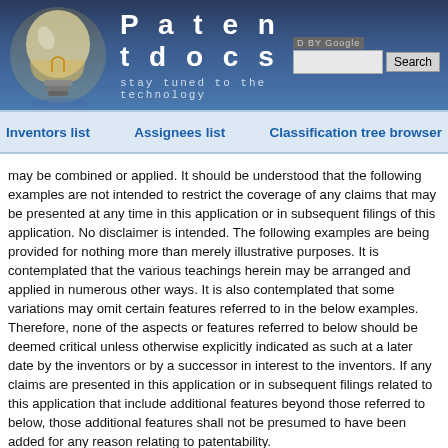[Figure (logo): Patentdocs website header with lightbulb logo, site name 'Patentdocs', tagline 'stay tuned to the technology', and Google search box with Search button]
Inventors list    Assignees list    Classification tree browser
may be combined or applied. It should be understood that the following examples are not intended to restrict the coverage of any claims that may be presented at any time in this application or in subsequent filings of this application. No disclaimer is intended. The following examples are being provided for nothing more than merely illustrative purposes. It is contemplated that the various teachings herein may be arranged and applied in numerous other ways. It is also contemplated that some variations may omit certain features referred to in the below examples. Therefore, none of the aspects or features referred to below should be deemed critical unless otherwise explicitly indicated as such at a later date by the inventors or by a successor in interest to the inventors. If any claims are presented in this application or in subsequent filings related to this application that include additional features beyond those referred to below, those additional features shall not be presumed to have been added for any reason relating to patentability.